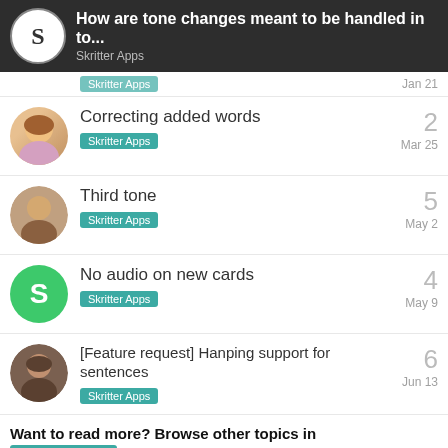How are tone changes meant to be handled in to... Skritter Apps
Correcting added words | Skritter Apps | 2 | Mar 25
Third tone | Skritter Apps | 5 | May 2
No audio on new cards | Skritter Apps | 4 | May 9
[Feature request] Hanping support for sentences | Skritter Apps | 6 | Jun 13
Want to read more? Browse other topics in Skritter Apps or view latest topics.